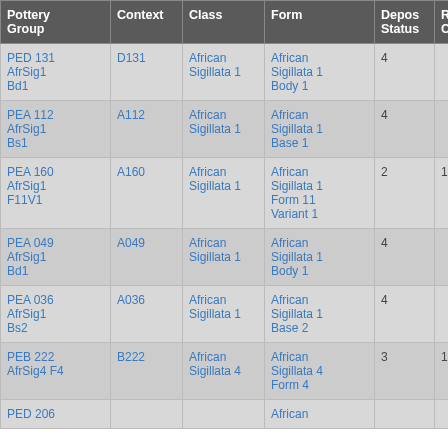| Pottery Group | Context | Class | Form | Depos Status | R Ct | R EVE |
| --- | --- | --- | --- | --- | --- | --- |
| PED 131 AfrSig1 Bd1 | D131 | African Sigillata 1 | African Sigillata 1 Body 1 | 4 |  |  |
| PEA 112 AfrSig1 Bs1 | A112 | African Sigillata 1 | African Sigillata 1 Base 1 | 4 |  |  |
| PEA 160 AfrSig1 F11V1 | A160 | African Sigillata 1 | African Sigillata 1 Form 11 Variant 1 | 2 | 1 | 1 |
| PEA 049 AfrSig1 Bd1 | A049 | African Sigillata 1 | African Sigillata 1 Body 1 | 4 |  |  |
| PEA 036 AfrSig1 Bs2 | A036 | African Sigillata 1 | African Sigillata 1 Base 2 | 4 |  |  |
| PEB 222 AfrSig4 F4 | B222 | African Sigillata 4 | African Sigillata 4 Form 4 | 3 | 1 | 1 |
| PED 206 |  |  | African |  |  |  |